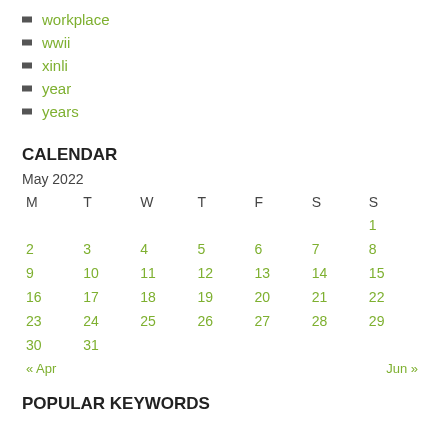workplace
wwii
xinli
year
years
CALENDAR
| M | T | W | T | F | S | S |
| --- | --- | --- | --- | --- | --- | --- |
|  |  |  |  |  |  | 1 |
| 2 | 3 | 4 | 5 | 6 | 7 | 8 |
| 9 | 10 | 11 | 12 | 13 | 14 | 15 |
| 16 | 17 | 18 | 19 | 20 | 21 | 22 |
| 23 | 24 | 25 | 26 | 27 | 28 | 29 |
| 30 | 31 |  |  |  |  |  |
POPULAR KEYWORDS